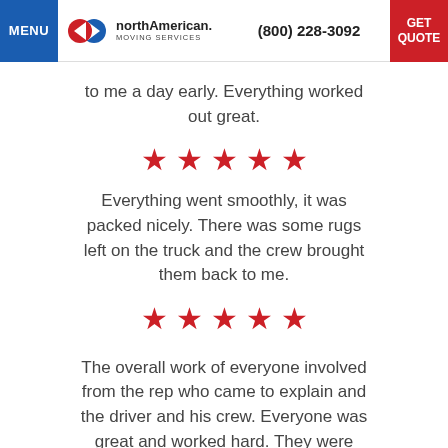MENU | northAmerican MOVING SERVICES | (800) 228-3092 | GET QUOTE
to me a day early. Everything worked out great.
[Figure (other): Five red stars rating]
Everything went smoothly, it was packed nicely. There was some rugs left on the truck and the crew brought them back to me.
[Figure (other): Five red stars rating]
The overall work of everyone involved from the rep who came to explain and the driver and his crew. Everyone was great and worked hard. They were